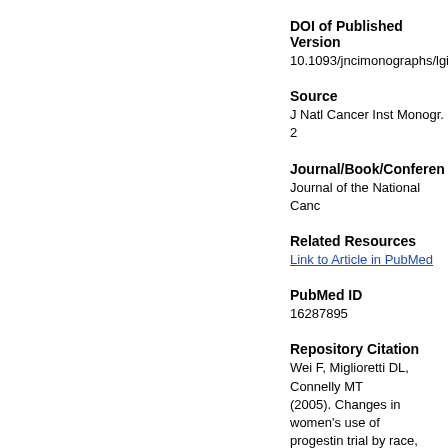DOI of Published Version
10.1093/jncimonographs/lgi
Source
J Natl Cancer Inst Monogr. 2
Journal/Book/Conferen
Journal of the National Canc
Related Resources
Link to Article in PubMed
PubMed ID
16287895
Repository Citation
Wei F, Miglioretti DL, Connelly MT (2005). Changes in women's use of progestin trial by race, education, https://doi.org/10.1093/jncimono https://escholarship.umassmed.ec